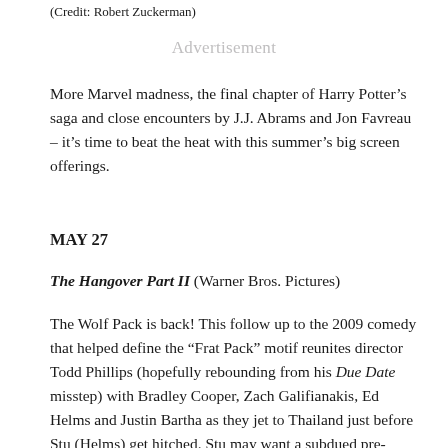(Credit: Robert Zuckerman)
Advertisement
More Marvel madness, the final chapter of Harry Potter’s saga and close encounters by J.J. Abrams and Jon Favreau – it’s time to beat the heat with this summer’s big screen offerings.
MAY 27
The Hangover Part II (Warner Bros. Pictures)
The Wolf Pack is back! This follow up to the 2009 comedy that helped define the “Frat Pack” motif reunites director Todd Phillips (hopefully rebounding from his Due Date misstep) with Bradley Cooper, Zach Galifianakis, Ed Helms and Justin Bartha as they jet to Thailand just before Stu (Helms) get hitched. Stu may want a subdued pre-wedding brunch, but that’s not how the Wolf Pack rolls and, just like in Vegas,